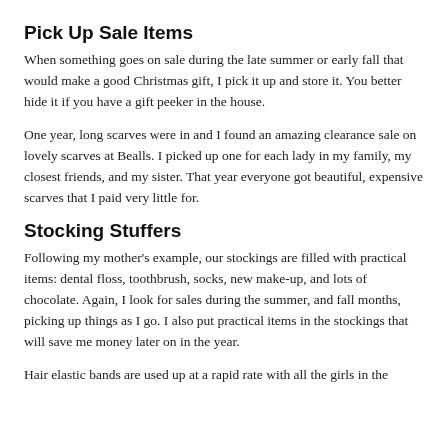Pick Up Sale Items
When something goes on sale during the late summer or early fall that would make a good Christmas gift, I pick it up and store it. You better hide it if you have a gift peeker in the house.
One year, long scarves were in and I found an amazing clearance sale on lovely scarves at Bealls. I picked up one for each lady in my family, my closest friends, and my sister. That year everyone got beautiful, expensive scarves that I paid very little for.
Stocking Stuffers
Following my mother's example, our stockings are filled with practical items: dental floss, toothbrush, socks, new make-up, and lots of chocolate. Again, I look for sales during the summer, and fall months, picking up things as I go. I also put practical items in the stockings that will save me money later on in the year.
Hair elastic bands are used up at a rapid rate with all the girls in the